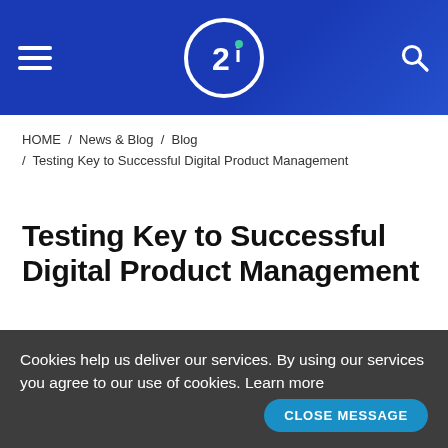2i — Navigation header with hamburger menu, 2i logo, and search icon
HOME / News & Blog / Blog / Testing Key to Successful Digital Product Management
Testing Key to Successful Digital Product Management
[Figure (other): Teal horizontal decorative underline beneath the page title]
Cookies help us deliver our services. By using our services you agree to our use of cookies. Learn more
CLOSE MESSAGE